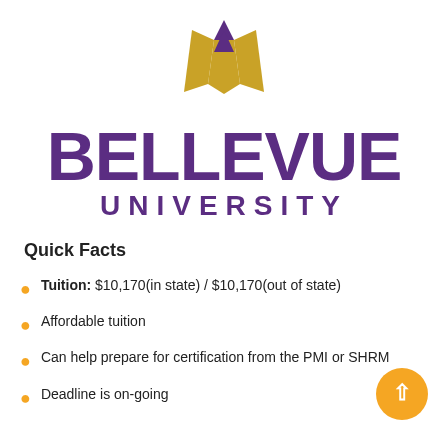[Figure (logo): Bellevue University logo: gold and purple shield/wing emblem above the text BELLEVUE UNIVERSITY]
Quick Facts
Tuition: $10,170(in state) / $10,170(out of state)
Affordable tuition
Can help prepare for certification from the PMI or SHRM
Deadline is on-going